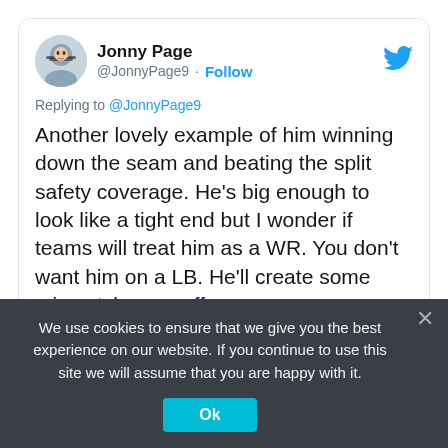[Figure (screenshot): Twitter/X user avatar for Jonny Page - cartoon illustration of person with glasses]
Jonny Page @JonnyPage9 · Follow
Replying to @JonnyPage9
Another lovely example of him winning down the seam and beating the split safety coverage. He's big enough to look like a tight end but I wonder if teams will treat him as a WR. You don't want him on a LB. He'll create some mismatches on offense.
[Figure (screenshot): Video thumbnail showing a football field with ROMA text visible and a Watch on Twitter button]
We use cookies to ensure that we give you the best experience on our website. If you continue to use this site we will assume that you are happy with it.
Ok